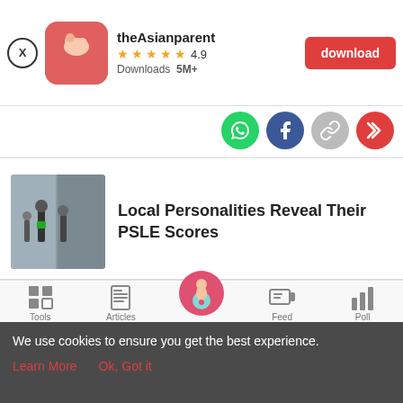[Figure (screenshot): theAsianparent app banner with close button, app icon, name, 4.9 star rating, 5M+ downloads, and red download button]
[Figure (screenshot): Social share icons row: WhatsApp (green), Facebook (blue), link (gray), forward (red)]
[Figure (screenshot): Article thumbnail showing people walking]
Local Personalities Reveal Their PSLE Scores
[Figure (screenshot): Bottom navigation bar with Tools, Articles, center pregnancy icon button, Feed, Poll]
We use cookies to ensure you get the best experience.
Learn More   Ok, Got it